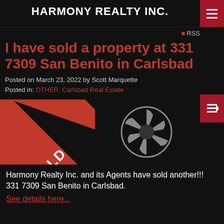HARMONY REALTY INC.
RSS
I have sold a property at 331 7309 San Benito in Carlsbad
Posted on March 23, 2022 by Scott Marquette
Posted in: OTHER, Carlsbad Real Estate
[Figure (photo): Property image with a red SOLD ribbon diagonal banner overlay and a camera/photography placeholder icon on a dark background]
Harmony Realty Inc. and its Agents have sold another!!! 331 7309 San Benito in Carlsbad.
See details here...